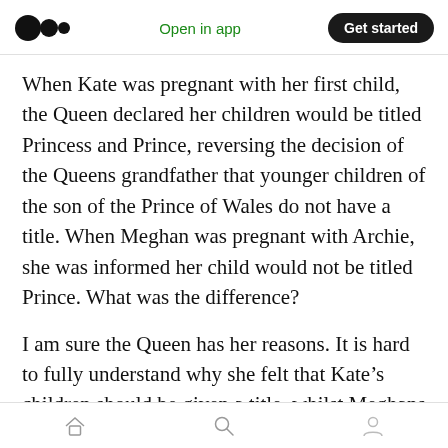Open in app | Get started
When Kate was pregnant with her first child, the Queen declared her children would be titled Princess and Prince, reversing the decision of the Queens grandfather that younger children of the son of the Prince of Wales do not have a title. When Meghan was pregnant with Archie, she was informed her child would not be titled Prince. What was the difference?
I am sure the Queen has her reasons. It is hard to fully understand why she felt that Kate’s children should be given a title, whilst Meghans children
Home | Search | Profile